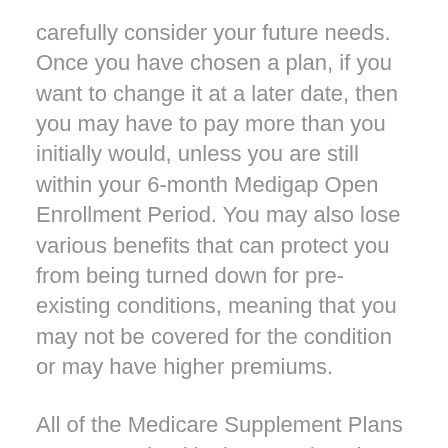carefully consider your future needs. Once you have chosen a plan, if you want to change it at a later date, then you may have to pay more than you initially would, unless you are still within your 6-month Medigap Open Enrollment Period. You may also lose various benefits that can protect you from being turned down for pre-existing conditions, meaning that you may not be covered for the condition or may have higher premiums.
All of the Medicare Supplement Plans are categorized by letters. Since laws and regulations require that each lettered plan meets certain minimum requirements, it's easier to choose a private insurance provider. Basically, one lettered plan will offer you the same basic coverage as another, with only the cost of your monthly premiums differentiating the